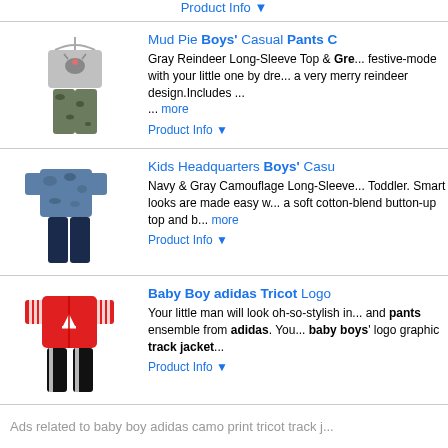Product Info ▼
Mud Pie Boys' Casual Pants C...
[Figure (photo): Gray reindeer long-sleeve top and camouflage pants children's clothing set on hanger]
Gray Reindeer Long-Sleeve Top & Gre... festive-mode with your little one by dre... a very merry reindeer design.Includes ... ... more
Product Info ▼
Kids Headquarters Boys' Casu...
[Figure (photo): Navy and gray camouflage long-sleeve shirt and dark navy pants children's clothing set]
Navy & Gray Camouflage Long-Sleeve Toddler. Smart looks are made easy w... a soft cotton-blend button-up top and b... more
Product Info ▼
Baby Boy adidas Tricot Logo...
[Figure (photo): Red adidas track jacket with white logo and black pants children's clothing set]
Your little man will look oh-so-stylish in... and pants ensemble from adidas. You... baby boys' logo graphic track jacket...
Product Info ▼
Ads related to baby boy adidas camo print tricot track j...